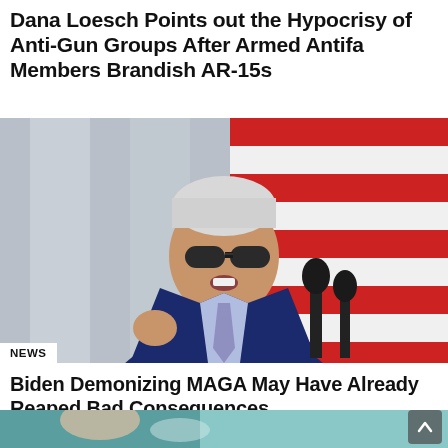Dana Loesch Points out the Hypocrisy of Anti-Gun Groups After Armed Antifa Members Brandish AR-15s
[Figure (photo): Photo of an elderly man in a dark suit and aviator sunglasses speaking at a podium with microphones, with an American flag in the background]
NEWS
Biden Demonizing MAGA May Have Already Reaped Bad Consequences
[Figure (photo): Partial photo of a medical professional in scrubs with a stethoscope]